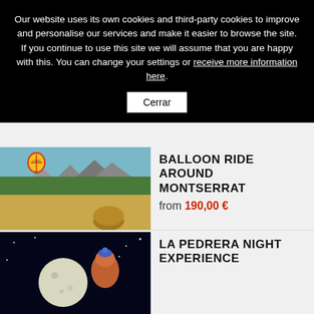Our website uses its own cookies and third-party cookies to improve and personalise our services and make it easier to browse the site. If you continue to use this site we will assume that you are happy with this. You can change your settings or receive more information here.
Cerrar
[Figure (photo): Hot air balloon over countryside with mountains and fields with hay bales near Montserrat]
BALLOON RIDE AROUND MONTSERRAT
from 190,00 €
[Figure (photo): Night scene with full moon and decorative figure, La Pedrera night experience]
LA PEDRERA NIGHT EXPERIENCE